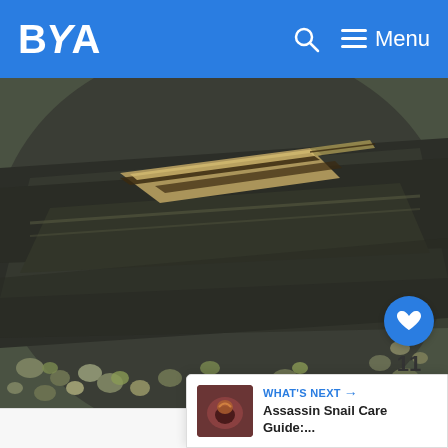BYA — Menu
[Figure (photo): A skink (lizard with stripes) resting on a dark rocky surface surrounded by small pebbles and gravel]
( Source )
[Figure (other): Like/heart button (blue circle with heart icon), count of 11, and share button]
[Figure (other): What's Next panel: thumbnail of assassin snail, text 'WHAT'S NEXT → Assassin Snail Care Guide:...']